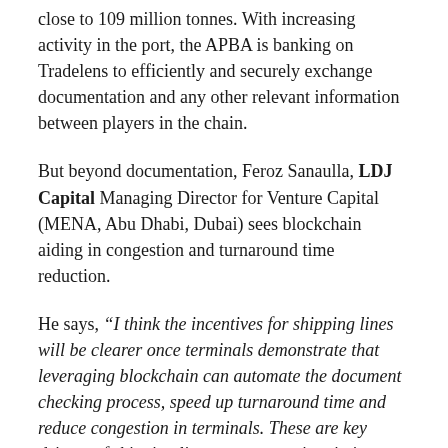close to 109 million tonnes. With increasing activity in the port, the APBA is banking on Tradelens to efficiently and securely exchange documentation and any other relevant information between players in the chain.
But beyond documentation, Feroz Sanaulla, LDJ Capital Managing Director for Venture Capital (MENA, Abu Dhabi, Dubai) sees blockchain aiding in congestion and turnaround time reduction.
He says, “I think the incentives for shipping lines will be clearer once terminals demonstrate that leveraging blockchain can automate the document checking process, speed up turnaround time and reduce congestion in terminals. These are key drivers of shipping line costs, so a win-win is possible.”
By the close of 2018, the Tradelens platform enlisted 40